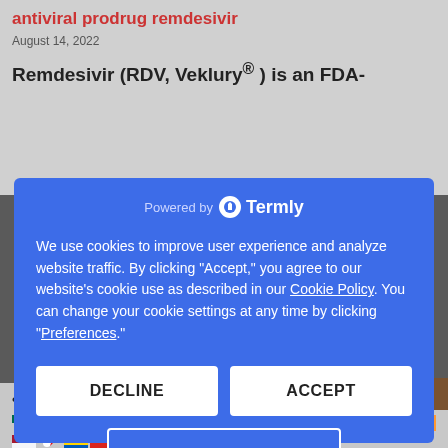antiviral prodrug remdesivir
August 14, 2022
Remdesivir (RDV, Veklury® ) is an FDA-
We use cookies to improve user experience and analyze website traffic. By clicking "Accept," you agree to our website's cookie use as described in our Cookie Policy. You can change your cookie settings at any time by clicking "Preferences."
Quantitative electroencephalographic